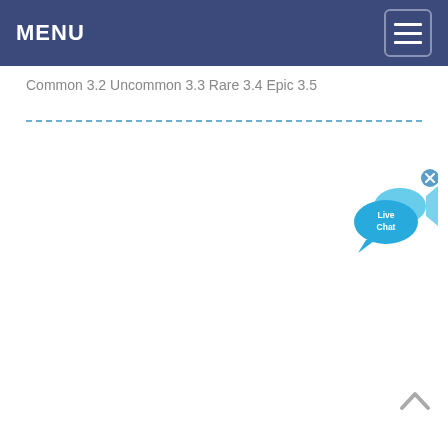MENU
Common 3.2 Uncommon 3.3 Rare 3.4 Epic 3.5
[Figure (illustration): Live Chat widget with speech bubble and fish icon, with close (x) button]
[Figure (illustration): Scroll to top arrow button (chevron up)]